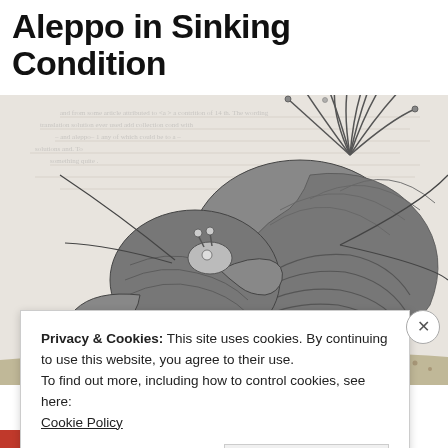Aleppo in Sinking Condition
[Figure (illustration): Black and white engraving illustration of a hermit crab carrying a large spiral shell with feathery anemone on top, set against faded text background]
Privacy & Cookies: This site uses cookies. By continuing to use this website, you agree to their use.
To find out more, including how to control cookies, see here: Cookie Policy
Close and accept